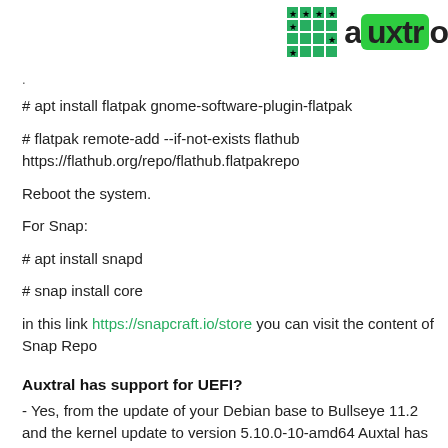[Figure (logo): Auxtral logo: green grid of squares with stars and 'auxtro' text in bold with green highlighted box]
.
# apt install flatpak gnome-software-plugin-flatpak
# flatpak remote-add --if-not-exists flathub https://flathub.org/repo/flathub.flatpakrepo
Reboot the system.
For Snap:
# apt install snapd
# snap install core
in this link https://snapcraft.io/store you can visit the content of Snap Repo
Auxtral has support for UEFI?
- Yes, from the update of your Debian base to Bullseye 11.2 and the kernel update to version 5.10.0-10-amd64 Auxtal has UEFI